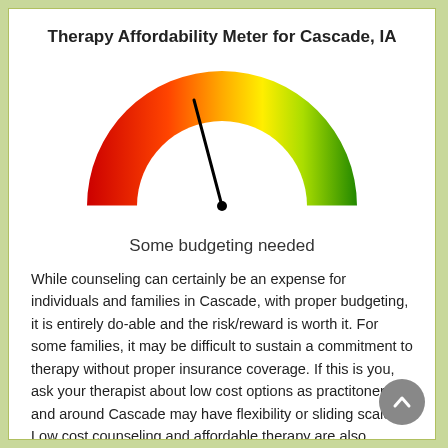Therapy Affordability Meter for Cascade, IA
[Figure (other): Semicircular gauge/speedometer showing affordability. The gauge is colored with a gradient from red on the left through orange and yellow in the middle to green on the right. A black needle points slightly left of center (toward the yellow-orange zone), indicating 'Some budgeting needed'.]
Some budgeting needed
While counseling can certainly be an expense for individuals and families in Cascade, with proper budgeting, it is entirely do-able and the risk/reward is worth it. For some families, it may be difficult to sustain a commitment to therapy without proper insurance coverage. If this is you, ask your therapist about low cost options as practitoners in and around Cascade may have flexibility or sliding scales. Low cost counseling and affordable therapy are also sometimes